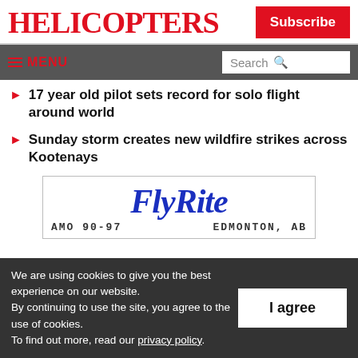HELICOPTERS
Subscribe
MENU | Search
17 year old pilot sets record for solo flight around world
Sunday storm creates new wildfire strikes across Kootenays
[Figure (logo): FlyRite logo with text FLYRITE in bold italic blue letters, AMO 90-97 EDMONTON, AB below]
We are using cookies to give you the best experience on our website. By continuing to use the site, you agree to the use of cookies. To find out more, read our privacy policy.